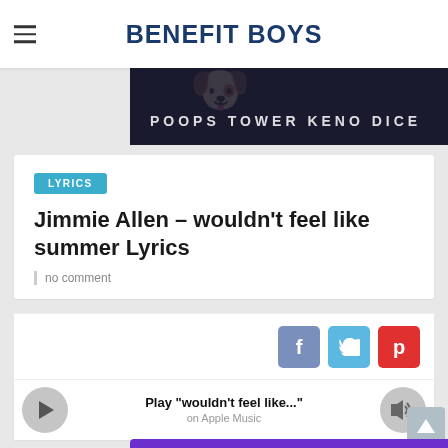BENEFIT BOYS
[Figure (screenshot): Dark banner advertisement with text POOPS TOWER KENO DICE and cartoon character images]
LYRICS
Jimmie Allen – wouldn't feel like summer Lyrics
no comment
[Figure (screenshot): Social share buttons: Facebook (blue), Twitter (cyan), Pinterest (red)]
[Figure (screenshot): Apple Music player widget with play button, text Play "wouldn't feel like..." on Apple Music, and volume icon]
[Figure (screenshot): Position Exchange advertisement banner with purple background]